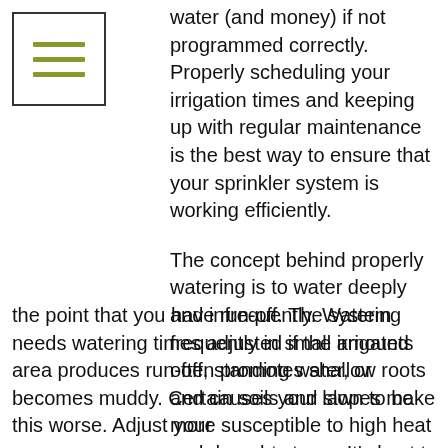[Figure (illustration): Navigation/menu icon with three horizontal olive-green lines inside a square border]
water (and money) if not programmed correctly. Properly scheduling your irrigation times and keeping up with regular maintenance is the best way to ensure that your sprinkler system is working efficiently.
The concept behind properly watering is to water deeply and infrequently. Watering frequently in small amounts often promotes shallow roots and causes your lawn to be more susceptible to high heat and drought stress. It's best to water for longer periods once or twice a week. You do not want to water to the point that you have run-off. The system needs watering times adjusted if the irrigated area produces run-off, standing water, or becomes muddy. Certain soils and slopes make this worse. Adjust your